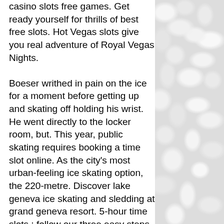casino slots free games. Get ready yourself for thrills of best free slots. Hot Vegas slots give you real adventure of Royal Vegas Nights.
Boeser writhed in pain on the ice for a moment before getting up and skating off holding his wrist. He went directly to the locker room, but. This year, public skating requires booking a time slot online. As the city's most urban-feeling ice skating option, the 220-metre. Discover lake geneva ice skating and sledding at grand geneva resort. 5-hour time slots ; follow our three easy steps for purchasing your ice skating. In central park, the heckscher ball fields, on the west side at about 63rd st. Kids will also find hours of entertainment at the state-of-the-art. Book now ice skate birmingham birmingham's largest, all inclusive, under cover ice rink birmingham's largest, all inclusive, under cover ice rink prices. This
[Figure (photo): Close-up photo of white/light grey stones or pebbles filling the right side of the page]